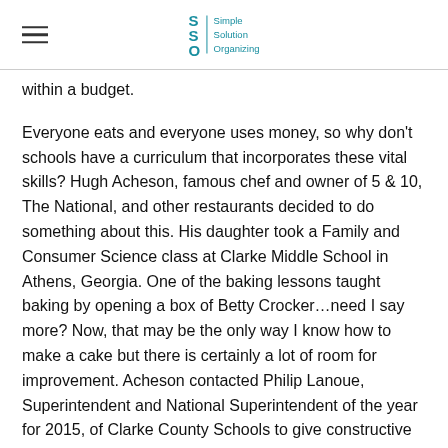SSO Simple Solution Organizing
within a budget.
Everyone eats and everyone uses money, so why don't schools have a curriculum that incorporates these vital skills? Hugh Acheson, famous chef and owner of 5 & 10, The National, and other restaurants decided to do something about this. His daughter took a Family and Consumer Science class at Clarke Middle School in Athens, Georgia. One of the baking lessons taught baking by opening a box of Betty Crocker…need I say more? Now, that may be the only way I know how to make a cake but there is certainly a lot of room for improvement. Acheson contacted Philip Lanoue, Superintendent and National Superintendent of the year for 2015, of Clarke County Schools to give constructive feedback. Lanoue agreed with Acheson and asked if he would like to "fix it." I believe this is how